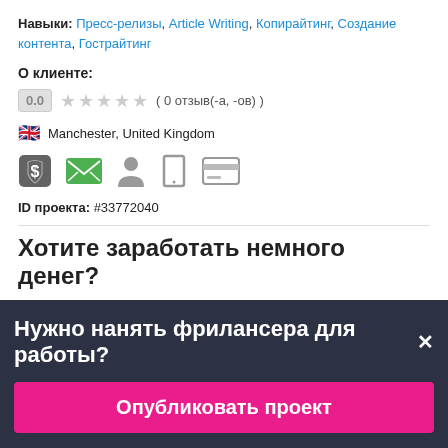Навыки: Пресс-релизы, Article Writing, Копирайтинг, Создание контента, Гострайтинг
О клиенте:
0.0 ( 0 отзыв(-а, -ов) )
🇬🇧 Manchester, United Kingdom
[Figure (infographic): Row of five icons: shield with dollar sign (gray), envelope (green), person silhouette (gray), phone (gray), credit card (gray)]
ID проекта: #33772040
Хотите заработать немного денег?
Нужно нанять фрилансера для работы?✕
Опубликовать проект